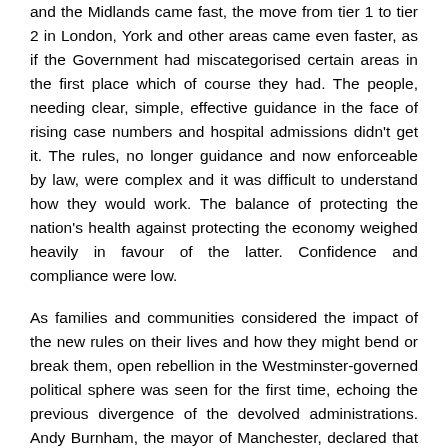and the Midlands came fast, the move from tier 1 to tier 2 in London, York and other areas came even faster, as if the Government had miscategorised certain areas in the first place which of course they had. The people, needing clear, simple, effective guidance in the face of rising case numbers and hospital admissions didn't get it. The rules, no longer guidance and now enforceable by law, were complex and it was difficult to understand how they would work. The balance of protecting the nation's health against protecting the economy weighed heavily in favour of the latter. Confidence and compliance were low.
As families and communities considered the impact of the new rules on their lives and how they might bend or break them, open rebellion in the Westminster-governed political sphere was seen for the first time, echoing the previous divergence of the devolved administrations. Andy Burnham, the mayor of Manchester, declared that he would resist a move from tier 2 to tier 3 unless the Chancellor found some money to support those affected. You can't